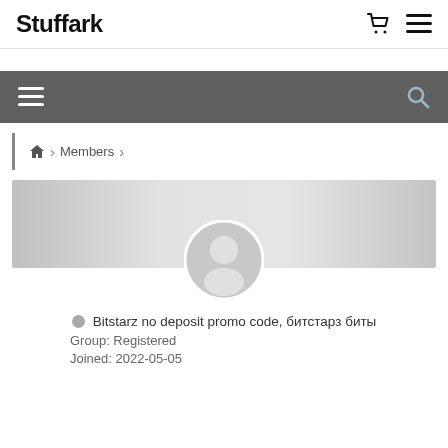Stuffark
[Figure (screenshot): Dark toolbar with hamburger menu icon on left and search icon on right]
Home > Members >
[Figure (photo): User profile banner with gradient grey background and circular default avatar icon]
Bitstarz no deposit promo code, битстарз биты
Group: Registered
Joined: 2022-05-05